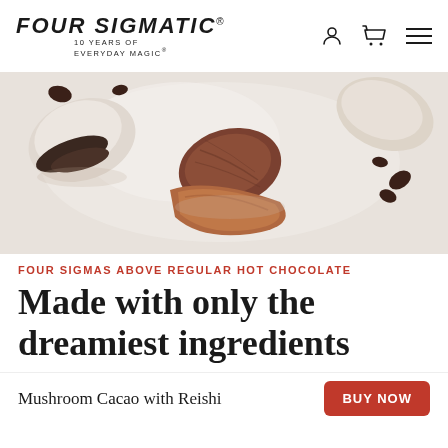FOUR SIGMATIC® — 10 YEARS OF EVERYDAY MAGIC®
[Figure (photo): Overhead flat-lay photo of dried mushrooms and cacao pieces scattered on a white background]
FOUR SIGMAS ABOVE REGULAR HOT CHOCOLATE
Made with only the dreamiest ingredients
Organic Reishi mushroom
Mushroom Cacao with Reishi